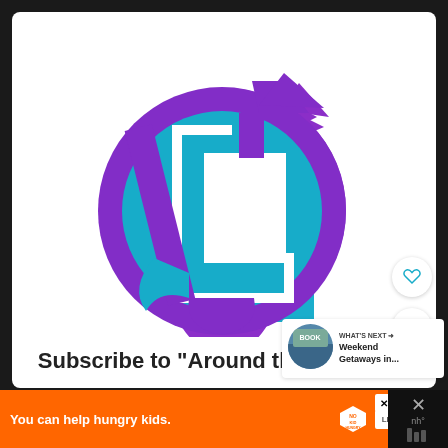[Figure (logo): Circular logo with purple ring and teal interior, white L-shaped cutout, purple arrow pointing upper-right. Around the World L! channel logo.]
Subscribe to "Around the World L!"
[Figure (infographic): WHAT'S NEXT arrow label with thumbnail image for 'Weekend Getaways in...']
[Figure (infographic): Orange advertisement banner: 'You can help hungry kids.' with No Kid Hungry logo and LEARN HOW button]